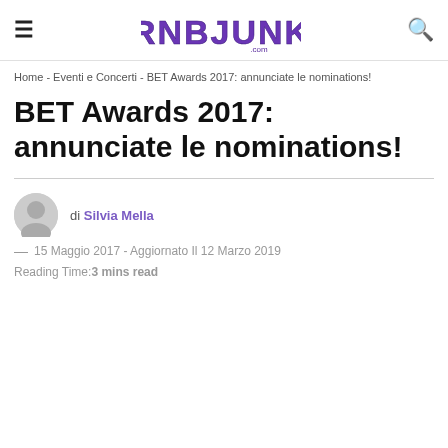RNBJUNK.com
Home - Eventi e Concerti - BET Awards 2017: annunciate le nominations!
BET Awards 2017: annunciate le nominations!
di Silvia Mella
— 15 Maggio 2017 - Aggiornato Il 12 Marzo 2019
Reading Time:3 mins read